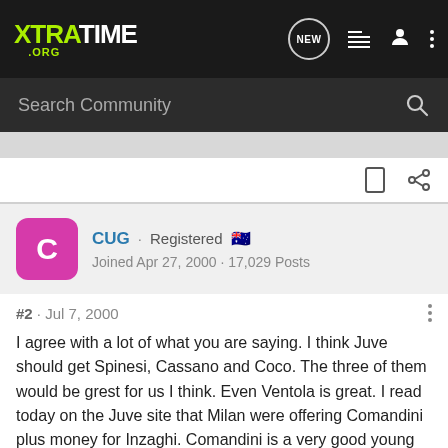XTRATIME .ORG
Search Community
CUG · Registered 🇦🇺
Joined Apr 27, 2000 · 17,029 Posts
#2 · Jul 7, 2000
I agree with a lot of what you are saying. I think Juve should get Spinesi, Cassano and Coco. The three of them would be grest for us I think. Even Ventola is great. I read today on the Juve site that Milan were offering Comandini plus money for Inzaghi. Comandini is a very good young player. Fiore was also mentioned of joining Juve as well. It looks like if he leaves Udinese, its certain Juve has got him. Also, Fiore and O'Neill